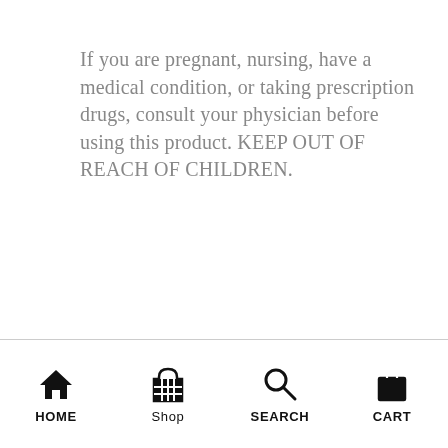If you are pregnant, nursing, have a medical condition, or taking prescription drugs, consult your physician before using this product. KEEP OUT OF REACH OF CHILDREN.
*This product is not intended to diagnose, treat or cure any illness or disease. The content and recommendations contained on this website have not been reviewed by the U.S. Food and Drug Administration (FDA) and are solely the opinion of the authors. Content contained on this website is not a substitute for professional medical advice, diagnosis or treatment. Never increase, reduce or discontinue any medication or treatment without first consulting your doctor.*
HOME  Shop  SEARCH  CART